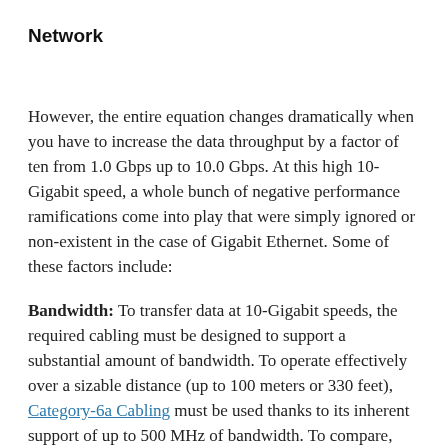Network
However, the entire equation changes dramatically when you have to increase the data throughput by a factor of ten from 1.0 Gbps up to 10.0 Gbps.  At this high 10-Gigabit speed, a whole bunch of negative performance ramifications come into play that were simply ignored or non-existent in the case of Gigabit Ethernet.  Some of these factors include:
Bandwidth:  To transfer data at 10-Gigabit speeds, the required cabling must be designed to support a substantial amount of bandwidth.  To operate effectively over a sizable distance (up to 100 meters or 330 feet), Category-6a Cabling must be used thanks to its inherent support of up to 500 MHz of bandwidth.  To compare, regular Gigabit Ethernet (1000BASE-T) can operate with plenty of headroom using a 100 MHz bandwidth capable Category 5e (CAT5e) Patch